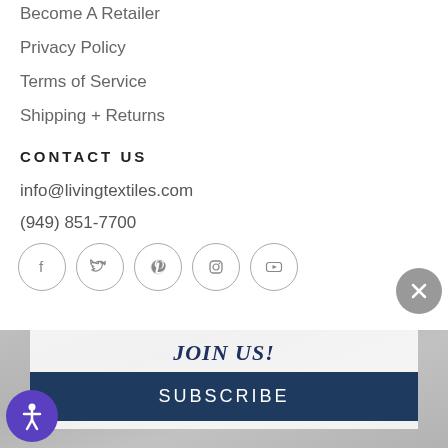Become A Retailer
Privacy Policy
Terms of Service
Shipping + Returns
CONTACT US
info@livingtextiles.com
(949) 851-7700
[Figure (other): Social media icons: Facebook, Twitter, Pinterest, Instagram, YouTube — each in a circle outline]
[Figure (other): Close button — gray circle with X]
JOIN US!
SUBSCRIBE
[Figure (other): Accessibility icon button — purple circle with person/accessibility symbol]